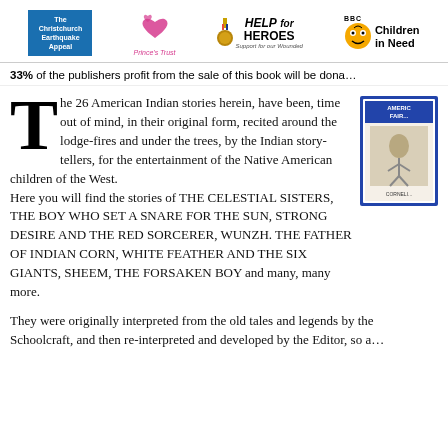[Figure (logo): Four charity logos in a row: Christchurch Earthquake Appeal (blue box), Prince's Trust (pink heart symbol), Help for Heroes (medal with text), BBC Children in Need (Pudsey bear with text)]
33% of the publishers profit from the sale of this book will be dona...
The 26 American Indian stories herein, have been, time out of mind, in their original form, recited around the lodge-fires and under the trees, by the Indian story-tellers, for the entertainment of the Native American children of the West. Here you will find the stories of THE CELESTIAL SISTERS, THE BOY WHO SET A SNARE FOR THE SUN, STRONG DESIRE AND THE RED SORCERER, WUNZH. THE FATHER OF INDIAN CORN, WHITE FEATHER AND THE SIX GIANTS, SHEEM, THE FORSAKEN BOY and many, many more.
[Figure (illustration): Book cover showing 'American Fairy Tales' by Corneli... with an illustrated figure]
They were originally interpreted from the old tales and legends by the Schoolcraft, and then re-interpreted and developed by the Editor, so a...